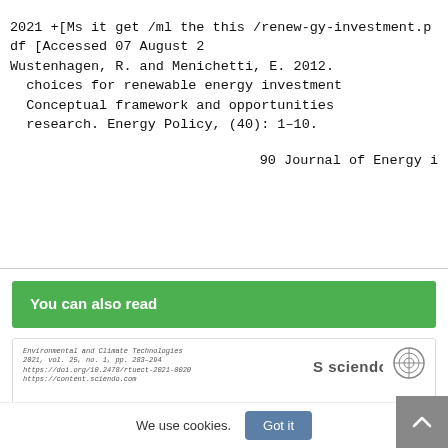2021 +[Ms it get /ml the this /renew-gy-investment.pdf [Accessed 07 August 2
Wustenhagen, R. and Menichetti, E. 2012.
choices for renewable energy investment
Conceptual framework and opportunities
research. Energy Policy, (40): 1–10.
90 Journal of Energy i
You can also read
[Figure (screenshot): Preview card of an article from Environmental and Climate Technologies journal, 2021, with Sciendo and RTU logos]
We use cookies.